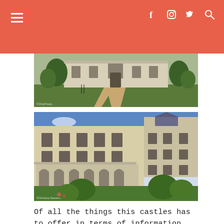Navigation header with hamburger menu and social icons (facebook, instagram, twitter, search)
[Figure (photo): Photo of a French Loire Valley castle (Brézé or similar) with green lawn, central path, stone facade, surrounded by trees]
[Figure (photo): Photo of a French Renaissance castle courtyard with arched gallery, ornate stonework, blue sky, and trimmed topiary bushes on green lawn]
Of all the things this castles has to offer in terms of information, the most